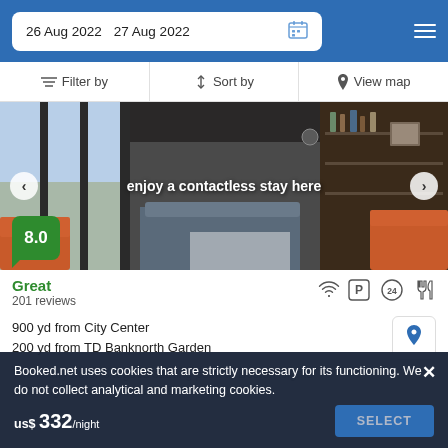26 Aug 2022   27 Aug 2022
Filter by   Sort by   View map
[Figure (photo): Hotel interior photo showing lounge area with orange/red seating, glass walls, and a bar in the background. Overlay text reads: enjoy a contactless stay here. Rating badge shows 8.0.]
Great
201 reviews
900 yd from City Center
200 yd from TD Banknorth Garden
The luxury hotel is a good starting point to Boston' sights including Kenway Park and TD Garden...
Booked.net uses cookies that are strictly necessary for its functioning. We do not collect analytical and marketing cookies. us$ 332/night   SELECT